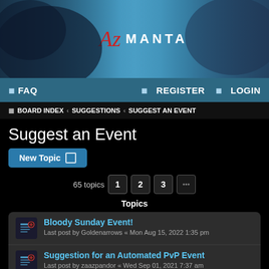[Figure (illustration): AzManta gaming forum banner with dark blue background, fantasy warrior characters on left and right sides, and stylized 'Az MANTA' logo text in center with red italic Az and white MANTA]
FAQ   REGISTER   LOGIN
BOARD INDEX « SUGGESTIONS « SUGGEST AN EVENT
Suggest an Event
New Topic
65 topics  1  2  3
Topics
Bloody Sunday Event!
Last post by Goldenarrows « Mon Aug 15, 2022 1:35 pm
Suggestion for an Automated PvP Event
Last post by zaazpandor « Wed Sep 01, 2021 7:37 am
Replies: 3
Last Man Standing - Team War